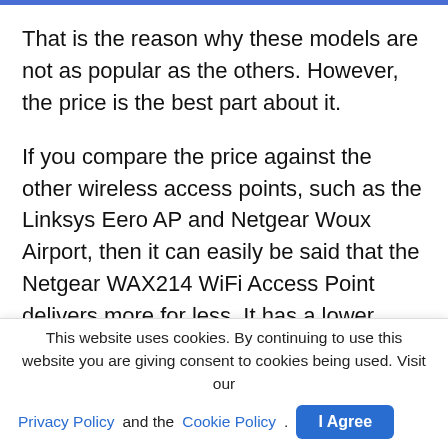That is the reason why these models are not as popular as the others. However, the price is the best part about it.
If you compare the price against the other wireless access points, such as the Linksys Eero AP and Netgear Woux Airport, then it can easily be said that the Netgear WAX214 WiFi Access Point delivers more for less. It has a lower initial price than the Eero and a little less than the Woux but it offers the best performance and reliability. Some other wireless models are very overpriced but never worth having. These include the Linksys Eero wireless router and the Netgear Woux wireless access point. So the
This website uses cookies. By continuing to use this website you are giving consent to cookies being used. Visit our Privacy Policy and the Cookie Policy.